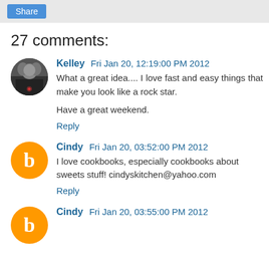27 comments:
Kelley  Fri Jan 20, 12:19:00 PM 2012
What a great idea.... I love fast and easy things that make you look like a rock star.

Have a great weekend.
Reply
Cindy  Fri Jan 20, 03:52:00 PM 2012
I love cookbooks, especially cookbooks about sweets stuff! cindyskitchen@yahoo.com
Reply
Cindy  Fri Jan 20, 03:55:00 PM 2012